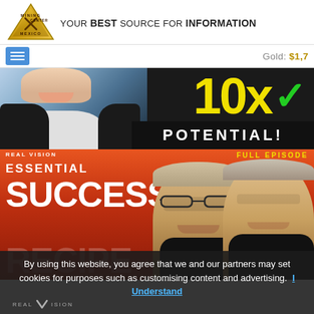[Figure (logo): Mining Center Mexico triangular gold logo with crossed tools]
YOUR BEST SOURCE FOR INFORMATION
Gold: $1,7
[Figure (screenshot): Promotional banner showing man in suit with text '10x POTENTIAL!' in yellow and white on dark background]
[Figure (screenshot): Real Vision Essential 'SUCCESS RECIPE' full episode banner with two men on red background]
By using this website, you agree that we and our partners may set cookies for purposes such as customising content and advertising.  I Understand